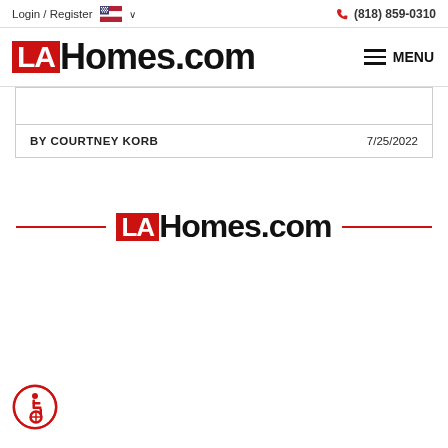Login / Register  🇺🇸 ∨     (818) 859-0310
[Figure (logo): LAHomes.com logo in header with hamburger MENU button]
|  |  |
| BY COURTNEY KORB | 7/25/2022 |
[Figure (logo): LAHomes.com centered logo with red horizontal lines on either side]
[Figure (other): Accessibility icon - wheelchair symbol in red circle]